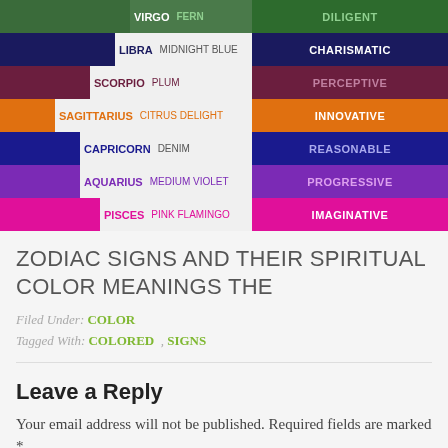[Figure (infographic): Zodiac signs with their spiritual colors and traits. Rows for Virgo (Fern, Diligent), Libra (Midnight Blue, Charismatic), Scorpio (Plum, Perceptive), Sagittarius (Citrus Delight, Innovative), Capricorn (Denim, Reasonable), Aquarius (Medium Violet, Progressive), Pisces (Pink Flamingo, Imaginative).]
ZODIAC SIGNS AND THEIR SPIRITUAL COLOR MEANINGS THE
Filed Under: COLOR
Tagged With: COLORED , SIGNS
Leave a Reply
Your email address will not be published. Required fields are marked *